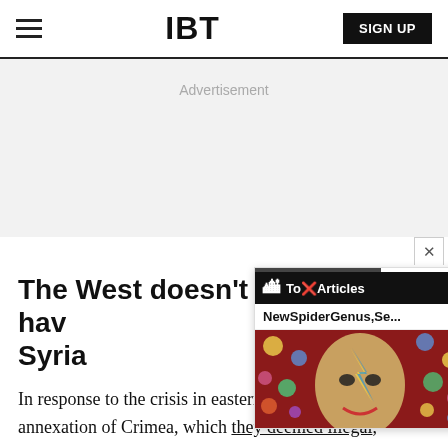IBT | SIGN UP
Advertisement
The West doesn't have a plan for Syria
[Figure (screenshot): Popup overlay showing 'Top Articles' with 'NewSpiderGenus,Se...' subtitle, over a colorful portrait painting thumbnail. Three-dot menu visible.]
In response to the crisis in eastern Ukraine and the annexation of Crimea, which they deemed illegal,